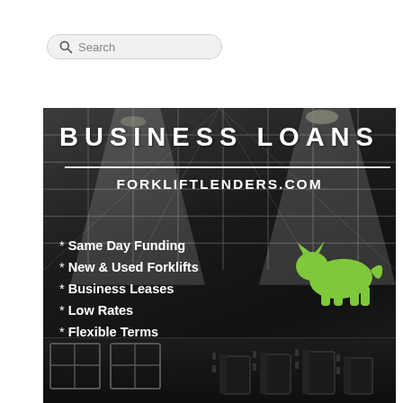Search
[Figure (illustration): Business loan advertisement banner for forkliftlenders.com on a dark warehouse background. Shows 'BUSINESS LOANS' title, website URL, green cat/cougar logo, and bullet points: Same Day Funding, New & Used Forklifts, Business Leases, Low Rates, Flexible Terms. Bottom shows warehouse interior with forklifts.]
* Same Day Funding
* New & Used Forklifts
* Business Leases
* Low Rates
* Flexible Terms